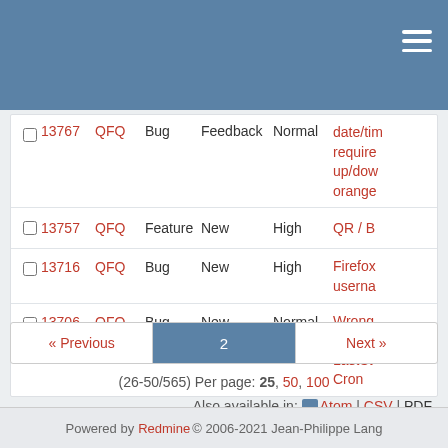Header bar with menu icon
|  | # | Project | Tracker | Status | Priority | Subject |
| --- | --- | --- | --- | --- | --- | --- |
|  | 13767 | QFQ | Bug | Feedback | Normal | date/tim require up/dow orange |
|  | 13757 | QFQ | Feature | New | High | QR / B |
|  | 13716 | QFQ | Bug | New | High | Firefox userna |
|  | 13706 | QFQ | Bug | New | Normal | Wrong FieldEl LastSt Cron |
« Previous  2  Next »
(26-50/565) Per page: 25, 50, 100
Also available in: Atom | CSV | PDF
Powered by Redmine © 2006-2021 Jean-Philippe Lang